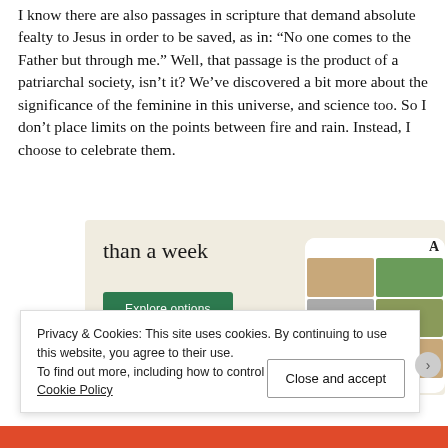I know there are also passages in scripture that demand absolute fealty to Jesus in order to be saved, as in: “No one comes to the Father but through me.” Well, that passage is the product of a patriarchal society, isn’t it? We’ve discovered a bit more about the significance of the feminine in this universe, and science too. So I don’t place limits on the points between fire and rain. Instead, I choose to celebrate them.
[Figure (screenshot): Advertisement banner with beige/cream background showing 'than a week' text in large serif font, a green 'Explore options' button, and a smartphone mockup showing a food/recipe app interface]
Privacy & Cookies: This site uses cookies. By continuing to use this website, you agree to their use.
To find out more, including how to control cookies, see here: Cookie Policy
Close and accept